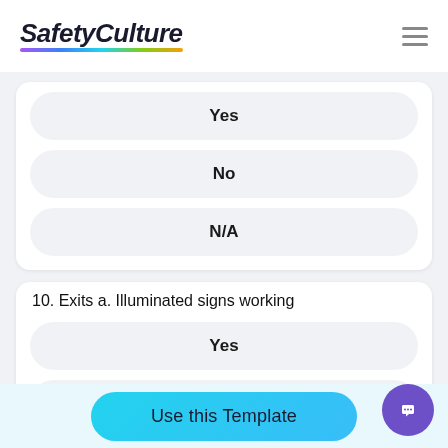[Figure (logo): SafetyCulture logo with multicolor underline]
Yes
No
N/A
10. Exits a. Illuminated signs working
Yes
No
Use this Template